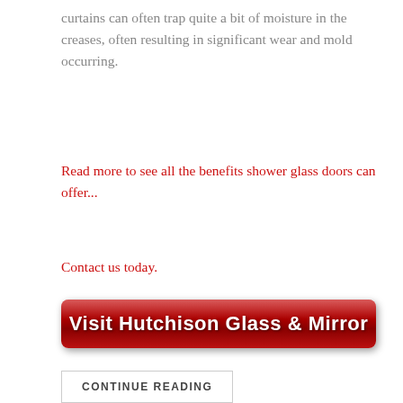curtains can often trap quite a bit of moisture in the creases, often resulting in significant wear and mold occurring.
Read more to see all the benefits shower glass doors can offer...
Contact us today.
[Figure (other): Red button with white bold text reading 'Visit Hutchison Glass & Mirror']
CONTINUE READING